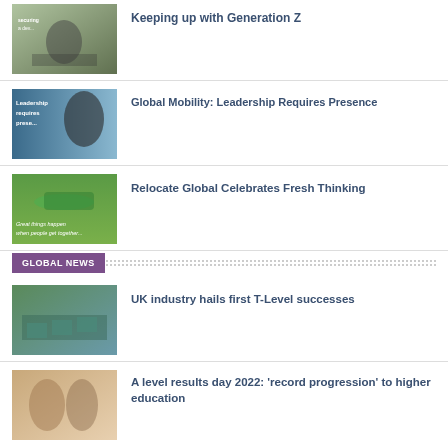[Figure (photo): Person on bicycle in outdoor setting]
Keeping up with Generation Z
[Figure (photo): Leadership requires presence - person looking sideways]
Global Mobility: Leadership Requires Presence
[Figure (photo): Outdoor gathering with green tent - Great things happen when people get together]
Relocate Global Celebrates Fresh Thinking
GLOBAL NEWS
[Figure (photo): Aerial view of campus or industrial area]
UK industry hails first T-Level successes
[Figure (photo): Two people talking indoors]
A level results day 2022: 'record progression' to higher education